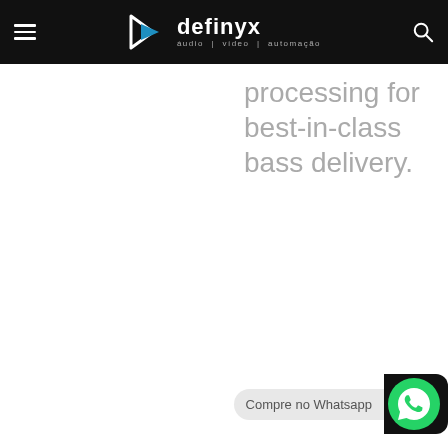definyx áudio | vídeo | automação
processing for best-in-class bass delivery.
[Figure (other): WhatsApp contact button with label 'Compre no Whatsapp' and green WhatsApp phone icon on dark background]